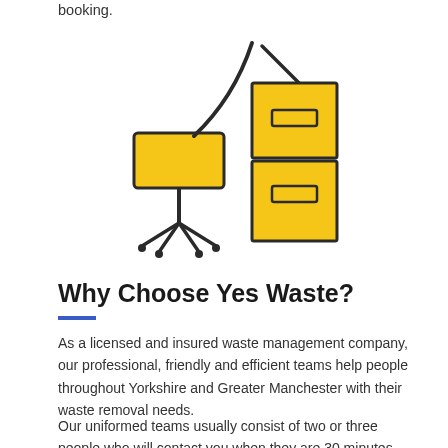booking.
[Figure (illustration): Line art illustration of an office chair (with yellow seat) next to a two-drawer filing cabinet (with yellow drawers), both outlined in dark lines on white background.]
Why Choose Yes Waste?
As a licensed and insured waste management company, our professional, friendly and efficient teams help people throughout Yorkshire and Greater Manchester with their waste removal needs.
Our uniformed teams usually consist of two or three people who will contact you when they are 30 minutes away. Once they arrive, they